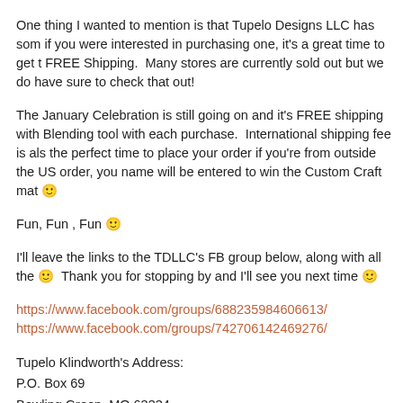One thing I wanted to mention is that Tupelo Designs LLC has som if you were interested in purchasing one, it's a great time to get t FREE Shipping.  Many stores are currently sold out but we do have sure to check that out!
The January Celebration is still going on and it's FREE shipping with Blending tool with each purchase.  International shipping fee is als the perfect time to place your order if you're from outside the US order, you name will be entered to win the Custom Craft mat 🙂
Fun, Fun , Fun 🙂
I'll leave the links to the TDLLC's FB group below, along with all the 🙂  Thank you for stopping by and I'll see you next time 🙂
https://www.facebook.com/groups/688235984606613/
https://www.facebook.com/groups/742706142469276/
Tupelo Klindworth's Address:
P.O. Box 69
Bowling Green, MO 63334